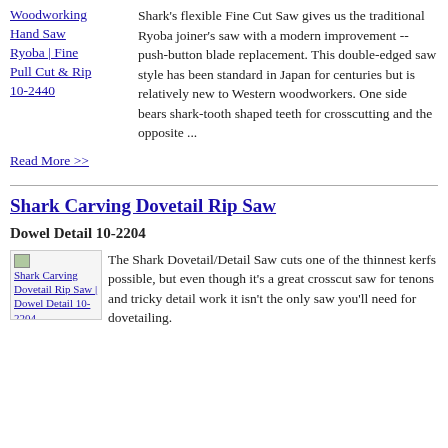Woodworking Hand Saw Ryoba | Fine Pull Cut & Rip 10-2440
Shark's flexible Fine Cut Saw gives us the traditional Ryoba joiner's saw with a modern improvement -- push-button blade replacement. This double-edged saw style has been standard in Japan for centuries but is relatively new to Western woodworkers. One side bears shark-tooth shaped teeth for crosscutting and the opposite ...
Read More >>
Shark Carving Dovetail Rip Saw
Dowel Detail 10-2204
[Figure (photo): Broken image placeholder for Shark Carving Dovetail Rip Saw | Dowel Detail 10-2204]
The Shark Dovetail/Detail Saw cuts one of the thinnest kerfs possible, but even though it's a great crosscut saw for tenons and tricky detail work it isn't the only saw you'll need for dovetailing.